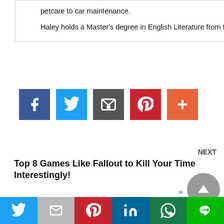petcare to car maintenance.
Haley holds a Master's degree in English Literature from the University of Edinburgh, Scotland.
[Figure (other): Social share buttons: Facebook (blue), Twitter (light blue), Email/envelope (dark gray), Pinterest (red), More/plus (orange-red)]
NEXT
Top 8 Games Like Fallout to Kill Your Time Interestingly!
[Figure (other): Up arrow navigation button, circular gray]
PREVIOUS
[Figure (other): Bottom social sharing bar with Twitter, Gmail/M, Pinterest, LinkedIn, WhatsApp, LINE buttons]